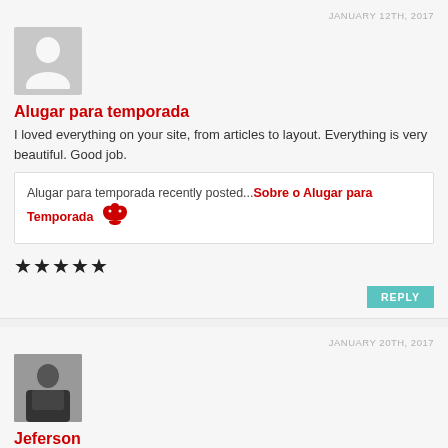JANUARY 12TH, 2017
[Figure (illustration): Default avatar placeholder — grey silhouette of a person on grey background]
Alugar para temporada
I loved everything on your site, from articles to layout. Everything is very beautiful. Good job.
Alugar para temporada recently posted...Sobre o Alugar para Temporada [bird icon]
★★★★★
REPLY
JANUARY 20TH, 2017
[Figure (photo): Photo of a man in a dark suit with arms crossed, professional headshot]
Jeferson
Very nice, I really enjoy it. Lider coach